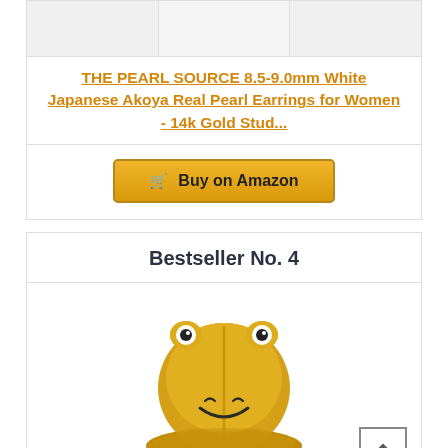[Figure (photo): Three product image thumbnails shown horizontally in a row]
THE PEARL SOURCE 8.5-9.0mm White Japanese Akoya Real Pearl Earrings for Women - 14k Gold Stud...
Buy on Amazon
Bestseller No. 4
[Figure (photo): Yellow frog bucket hat with embroidered frog eyes and smiling face]